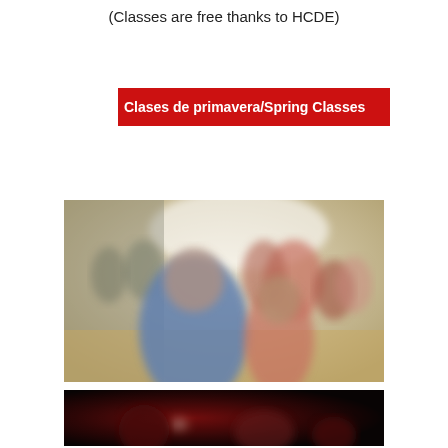(Classes are free thanks to HCDE)
Clases de primavera/Spring Classes
[Figure (photo): Blurred photograph of a group of people gathered in a classroom or community room setting, with a person in a blue shirt prominently in the foreground.]
[Figure (photo): Blurred photograph with dark background and reddish tones, showing people in a dimly lit room.]